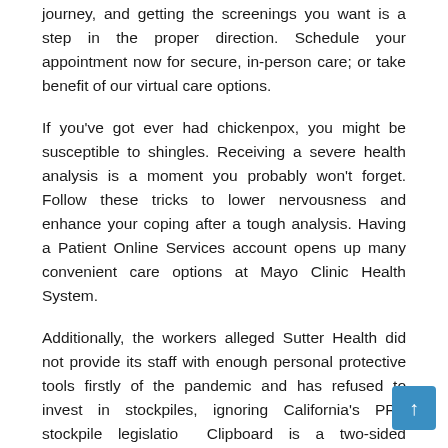journey, and getting the screenings you want is a step in the proper direction. Schedule your appointment now for secure, in-person care; or take benefit of our virtual care options.
If you've got ever had chickenpox, you might be susceptible to shingles. Receiving a severe health analysis is a moment you probably won't forget. Follow these tricks to lower nervousness and enhance your coping after a tough analysis. Having a Patient Online Services account opens up many convenient care options at Mayo Clinic Health System.
Additionally, the workers alleged Sutter Health did not provide its staff with enough personal protective tools firstly of the pandemic and has refused to invest in stockpiles, ignoring California's PPE stockpile legislation. Clipboard is a two-sided marketplace, counting over a thousand healthcare facilities and tens of thousands of